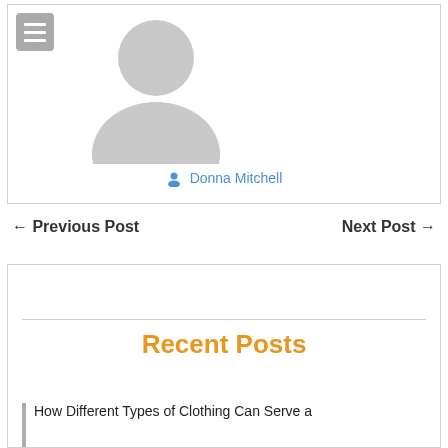[Figure (photo): Gray placeholder avatar silhouette (person icon) inside a bordered card. A hamburger menu button is in the top-left corner of the card.]
Donna Mitchell
← Previous Post
Next Post →
Recent Posts
How Different Types of Clothing Can Serve a